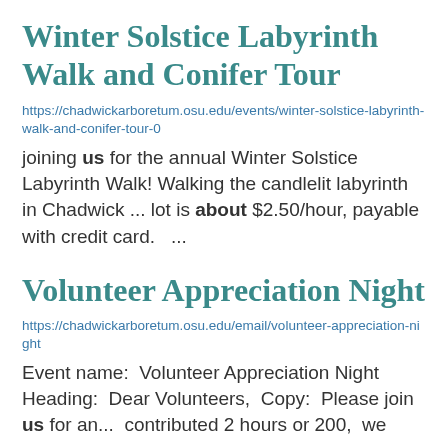Winter Solstice Labyrinth Walk and Conifer Tour
https://chadwickarboretum.osu.edu/events/winter-solstice-labyrinth-walk-and-conifer-tour-0
joining us for the annual Winter Solstice Labyrinth Walk! Walking the candlelit labyrinth in Chadwick ... lot is about $2.50/hour, payable with credit card.   ...
Volunteer Appreciation Night
https://chadwickarboretum.osu.edu/email/volunteer-appreciation-night
Event name:  Volunteer Appreciation Night  Heading:  Dear Volunteers,  Copy:  Please join us for an... contributed 2 hours or 200, we...